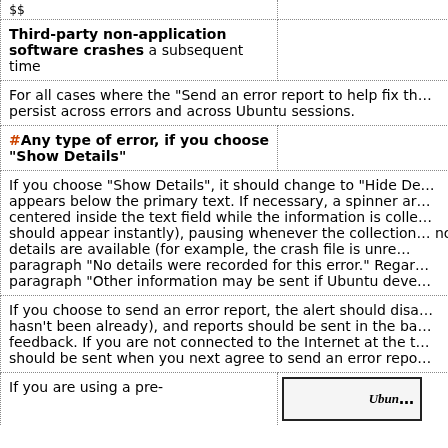| $$ |  |
| Third-party non-application software crashes a subsequent time |  |
| For all cases where the “Send an error report to help fix th… persist across errors and across Ubuntu sessions. |  |
| #Any type of error, if you choose “Show Details” |  |
| If you choose “Show Details”, it should change to “Hide De… appears below the primary text. If necessary, a spinner ar… centered inside the text field while the information is colle… should appear instantly), pausing whenever the collection… no details are available (for example, the crash file is unre… paragraph “No details were recorded for this error.” Regar… paragraph “Other information may be sent if Ubuntu deve… |  |
| If you choose to send an error report, the alert should disa… hasn’t been already), and reports should be sent in the ba… feedback. If you are not connected to the Internet at the t… should be sent when you next agree to send an error repo… |  |
| If you are using a pre- | [Ubuntu image] |